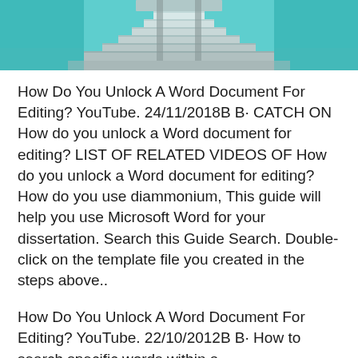[Figure (photo): Photograph showing stairs/steps leading up, with teal/turquoise water or tiled flooring visible on either side. The top portion of the image is cropped showing the upper staircase structure.]
How Do You Unlock A Word Document For Editing? YouTube. 24/11/2018B B· CATCH ON How do you unlock a Word document for editing? LIST OF RELATED VIDEOS OF How do you unlock a Word document for editing? How do you use diammonium, This guide will help you use Microsoft Word for your dissertation. Search this Guide Search. Double-click on the template file you created in the steps above..
How Do You Unlock A Word Document For Editing? YouTube. 22/10/2012B B· How to search specific words within a website/document? Can anyone telll me if it's possible to search for spefic